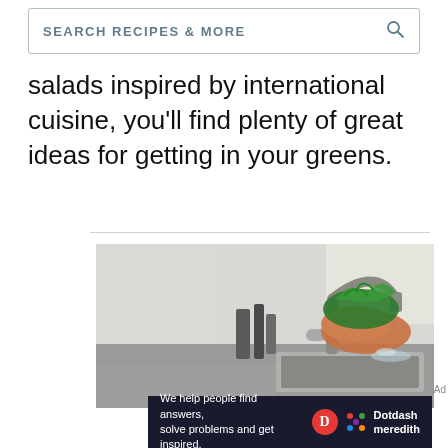SEARCH RECIPES & MORE
salads inspired by international cuisine, you'll find plenty of great ideas for getting in your greens.
[Figure (photo): Person washing fresh green leafy vegetables under a running faucet in a modern stainless steel kitchen sink]
We help people find answers, solve problems and get inspired. Dotdash meredith